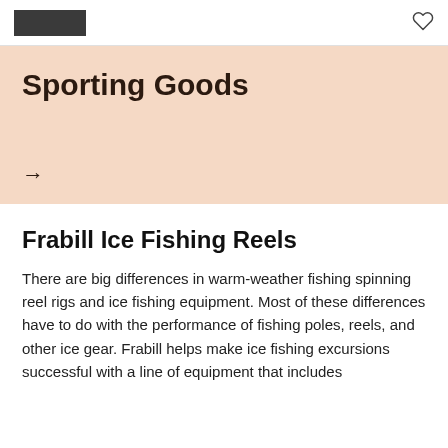[logo] [heart icon]
Sporting Goods
→
Frabill Ice Fishing Reels
There are big differences in warm-weather fishing spinning reel rigs and ice fishing equipment. Most of these differences have to do with the performance of fishing poles, reels, and other ice gear. Frabill helps make ice fishing excursions successful with a line of equipment that includes